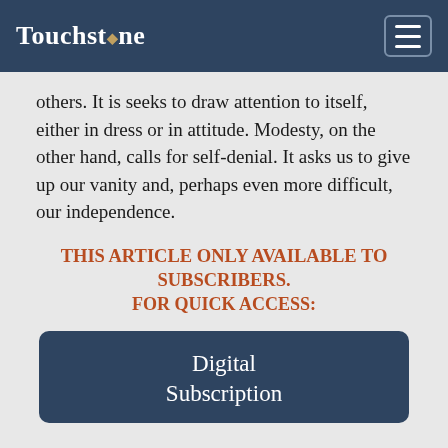Touchstone
others. It is seeks to draw attention to itself, either in dress or in attitude. Modesty, on the other hand, calls for self-denial. It asks us to give up our vanity and, perhaps even more difficult, our independence.
THIS ARTICLE ONLY AVAILABLE TO SUBSCRIBERS.
FOR QUICK ACCESS:
Digital Subscription